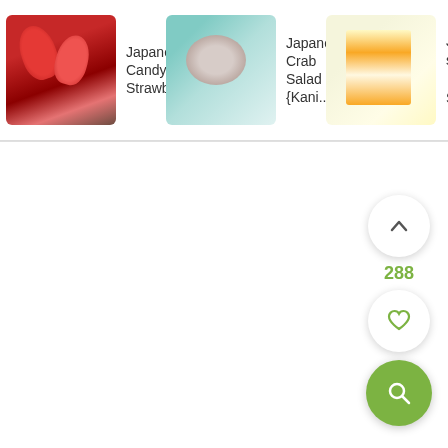[Figure (screenshot): Carousel of Japanese food recipe cards. Card 1: Japanese Candy Strawberries with red strawberry image. Card 2: Japanese Crab Salad {Kani... with bowl image. Card 3: Japanese Egg Sandwich (partially visible) with sandwich image and green arrow.]
288
[Figure (infographic): Three floating action buttons: up chevron, heart/favorite, and green search magnifier. Count label showing 288.]